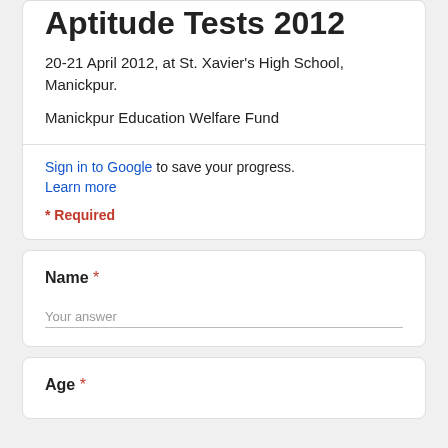Aptitude Tests 2012
20-21 April 2012, at St. Xavier's High School, Manickpur.
Manickpur Education Welfare Fund
Sign in to Google to save your progress. Learn more
* Required
Name *
Your answer
Age *